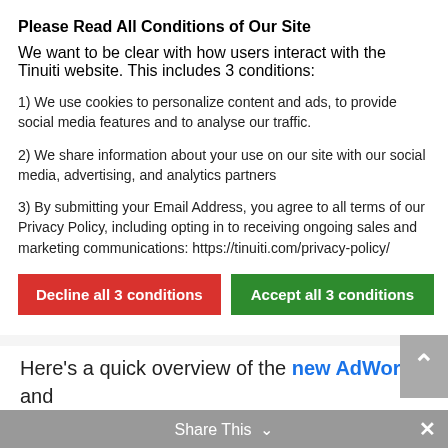Please Read All Conditions of Our Site
We want to be clear with how users interact with the Tinuiti website. This includes 3 conditions:
1) We use cookies to personalize content and ads, to provide social media features and to analyse our traffic.
2) We share information about your use on our site with our social media, advertising, and analytics partners
3) By submitting your Email Address, you agree to all terms of our Privacy Policy, including opting in to receiving ongoing sales and marketing communications: https://tinuiti.com/privacy-policy/
you've been using for the last 8 years is about to go into full retirement. Google will soon force all users to switch to the new interface by the end of this year.
Here's a quick overview of the new AdWords and